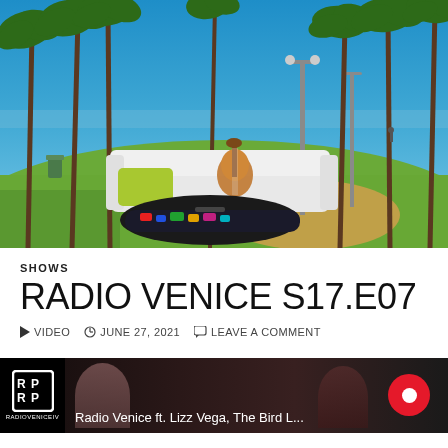[Figure (photo): Outdoor photo of Venice Beach park with tall palm trees, blue sky, a white concrete couch/bench with a green cushion and acoustic guitar on top, a guitar case on the ground in front, green grass, and ocean visible in the background]
SHOWS
RADIO VENICE S17.E07
▶ VIDEO  ⊙ JUNE 27, 2021  💬 LEAVE A COMMENT
[Figure (screenshot): Video thumbnail showing Radio Venice TV logo on left, two people visible, text reads 'Radio Venice ft. Lizz Vega, The Bird L...' with a red record/live button on the right]